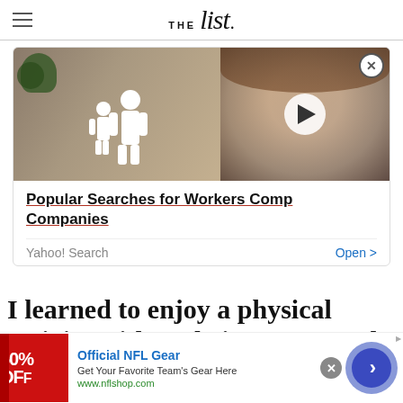THE list
[Figure (screenshot): Advertisement card showing a split image: left side shows hands holding paper cutout family figures with a plant, right side shows a woman's face with a video play button overlay. Below the image: 'Popular Searches for Workers Comp Companies' with Yahoo! Search branding and an Open button.]
I learned to enjoy a physical activity without being very good at it
[Figure (screenshot): Bottom banner ad for Official NFL Gear showing '50% OFF' in red, 'Official NFL Gear', 'Get Your Favorite Team's Gear Here', 'www.nflshop.com', and a blue circular arrow button on the right.]